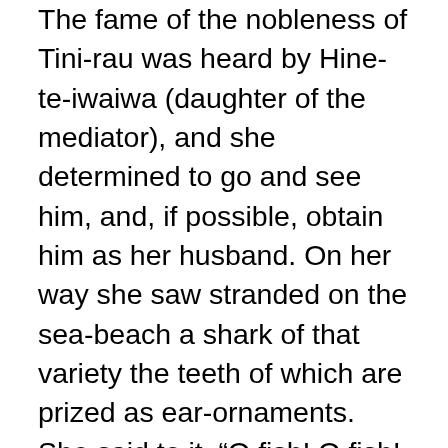The fame of the nobleness of Tini-rau was heard by Hine-te-iwaiwa (daughter of the mediator), and she determined to go and see him, and, if possible, obtain him as her husband. On her way she saw stranded on the sea-beach a shark of that variety the teeth of which are prized as ear-ornaments. She said to it, “O fish! O fish! you are not a messenger of Tini-rau.” And she threw some filth on it. She next saw a whale in a similar predicament, and said and did the same as to the shark. Seeing a karaerae she repeated the same words and action; but when she saw a repe (a sea-shell from which a sacred dye is obtained) lying on the sea-beach she placed her maro (apron) on the point of the shell, and then went to the settlement of Tini-rau, and saw the four pools where